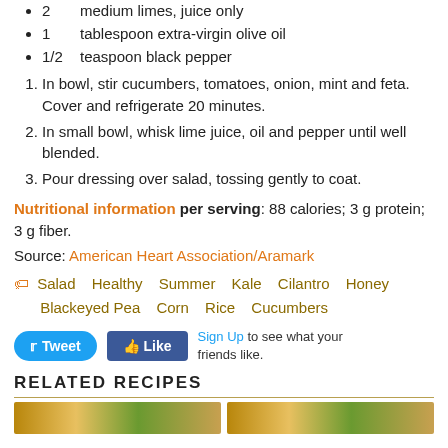2   medium limes, juice only
1   tablespoon extra-virgin olive oil
1/2   teaspoon black pepper
1. In bowl, stir cucumbers, tomatoes, onion, mint and feta. Cover and refrigerate 20 minutes.
2. In small bowl, whisk lime juice, oil and pepper until well blended.
3. Pour dressing over salad, tossing gently to coat.
Nutritional information per serving: 88 calories; 3 g protein; 3 g fiber.
Source: American Heart Association/Aramark
Salad  Healthy  Summer  Kale  Cilantro  Honey  Blackeyed Pea  Corn  Rice  Cucumbers
RELATED RECIPES